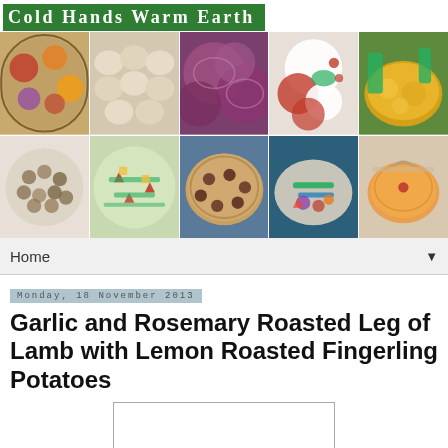Cold Hands Warm Earth
[Figure (photo): Grid of 10 food photographs showing spices, dumplings, red onions, caprese salad, curry, beans, strawberry salad, tart/pie, vegetable plate, and soup]
Home
Monday, 18 November 2013
Garlic and Rosemary Roasted Leg of Lamb with Lemon Roasted Fingerling Potatoes
[Figure (photo): Placeholder image box (partially visible food photo)]